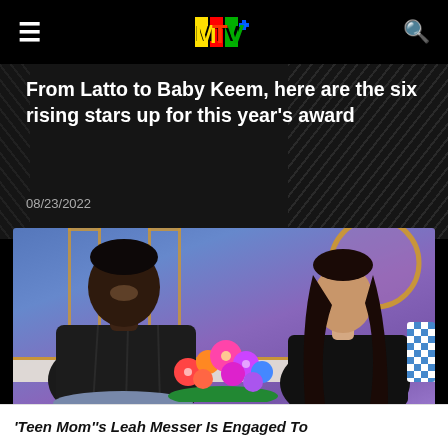MTV
From Latto to Baby Keem, here are the six rising stars up for this year's award
08/23/2022
[Figure (photo): A man and a woman sitting together on a couch in a studio setting with colorful floral arrangement between them, studio backdrop with geometric gold-framed shapes]
'Teen Mom''s Leah Messer Is Engaged To